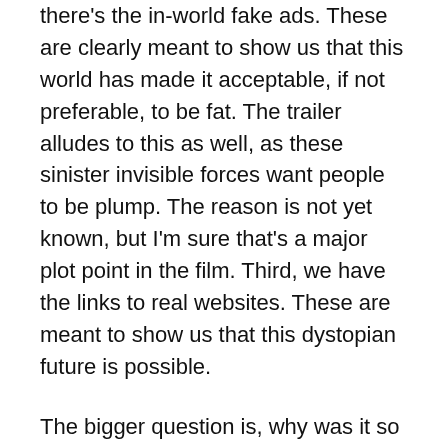there's the in-world fake ads. These are clearly meant to show us that this world has made it acceptable, if not preferable, to be fat. The trailer alludes to this as well, as these sinister invisible forces want people to be plump. The reason is not yet known, but I'm sure that's a major plot point in the film. Third, we have the links to real websites. These are meant to show us that this dystopian future is possible.
The bigger question is, why was it so easy to find all of these links? Was it intentional, or did we just put a dent in Roadside Attractions' plans to slowly unveil this content leading up to the film's September 7th theatrical release? Hopefully we'll know about their plans on July 12th, when the countdown ends. This happens to be the first day of Comic-Con, so I'll be on the lookout during my on-location coverage.